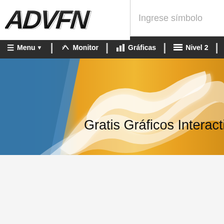[Figure (logo): ADVFN logo in bold italic black text]
Ingrese símbolo
Menu | Monitor | Gráficas | Nivel 2 | Mun...
[Figure (illustration): Banner with blue and gold gradient background with white wave/flame decorative elements and text: Gratis Gráficos Interactivos, Análisis Técn...]